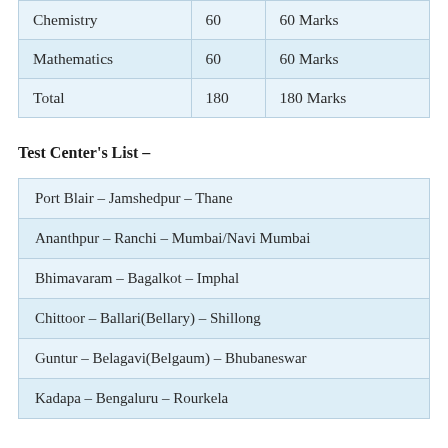| Subject | Questions | Marks |
| --- | --- | --- |
| Chemistry | 60 | 60 Marks |
| Mathematics | 60 | 60 Marks |
| Total | 180 | 180 Marks |
Test Center's List –
| Port Blair – Jamshedpur – Thane |
| Ananthpur – Ranchi – Mumbai/Navi Mumbai |
| Bhimavaram – Bagalkot – Imphal |
| Chittoor – Ballari(Bellary) – Shillong |
| Guntur – Belagavi(Belgaum) – Bhubaneswar |
| Kadapa – Bengaluru – Rourkela |